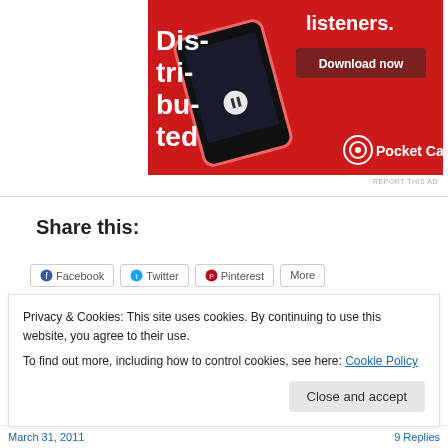[Figure (photo): Pocket Casts advertisement on red background showing a smartphone with podcast app and 'Download now' button. Text reads 'Distributed listeners.' with Pocket Casts logo.]
REPORT THIS AD
Share this:
Facebook   Twitter   Pinterest   More
Privacy & Cookies: This site uses cookies. By continuing to use this website, you agree to their use.
To find out more, including how to control cookies, see here: Cookie Policy
Close and accept
March 31, 2011   9 Replies